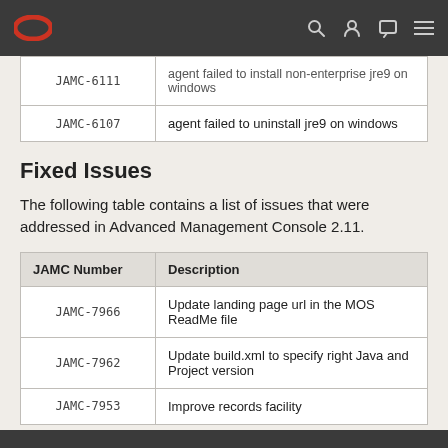Oracle Advanced Management Console navigation bar
| JAMC Number | Description |
| --- | --- |
| JAMC-6111 | agent failed to install non-enterprise jre9 on windows |
| JAMC-6107 | agent failed to uninstall jre9 on windows |
Fixed Issues
The following table contains a list of issues that were addressed in Advanced Management Console 2.11.
| JAMC Number | Description |
| --- | --- |
| JAMC-7966 | Update landing page url in the MOS ReadMe file |
| JAMC-7962 | Update build.xml to specify right Java and Project version |
| JAMC-7953 | Improve records facility |